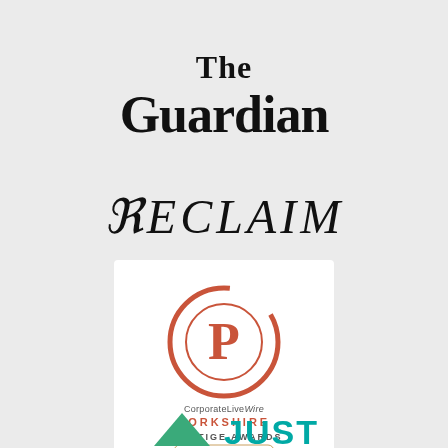[Figure (logo): The Guardian newspaper logo in bold black serif type, two lines: 'The' on top, 'Guardian' in larger text below]
[Figure (logo): RECLAIM magazine/brand logo in mixed serif and sans-serif caps, black text]
[Figure (logo): CorporateLiveWire Yorkshire Prestige Awards 2021/22 Winner badge: orange circular swirl with a P inside, text below reading CorporateLiveWire, YORKSHIRE, PRESTIGE AWARDS, 2021/22 WINNER in a rounded rectangle]
[Figure (logo): JUST logo partially visible at bottom: green triangle/arrow and teal JUST text]